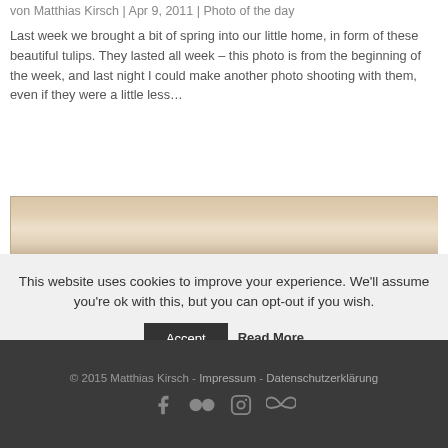von Matthias Kirsch | Apr 9, 2011 | Photo of the day
Last week we brought a bit of spring into our little home, in form of these beautiful tulips. They lasted all week – this photo is from the beginning of the week, and last night I could make another photo shooting with them, even if they were a little less…
[Figure (photo): A horizontal strip showing a warm beige/tan background, likely the top portion of a tulip photograph.]
This website uses cookies to improve your experience. We'll assume you're ok with this, but you can opt-out if you wish.
Accept   Read More
© 2015 Matthias Kirsch - Impressum - Datenschutzerklärung